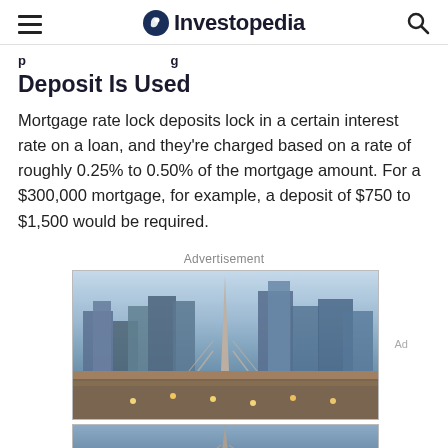Investopedia
Deposit Is Used
Mortgage rate lock deposits lock in a certain interest rate on a loan, and they're charged based on a rate of roughly 0.25% to 0.50% of the mortgage amount. For a $300,000 mortgage, for example, a deposit of $750 to $1,500 would be required.
Advertisement
[Figure (photo): City skyline with a bridge in the foreground and modern skyscrapers in the background, evening/dusk lighting. Advertisement image.]